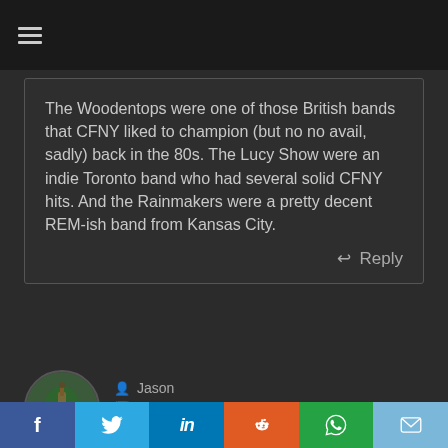≡
The Woodentops were one of those British bands that CFNY liked to champion (but no no avail, sadly) back in the 80s. The Lucy Show were an indie Toronto band who had several solid CFNY hits. And the Rainmakers were a pretty decent REM-ish band from Kansas City.
Reply
Jason
October 3, 2016 at 9:26 pm
Permalink
f  Twitter  in  Reddit  WhatsApp  Email